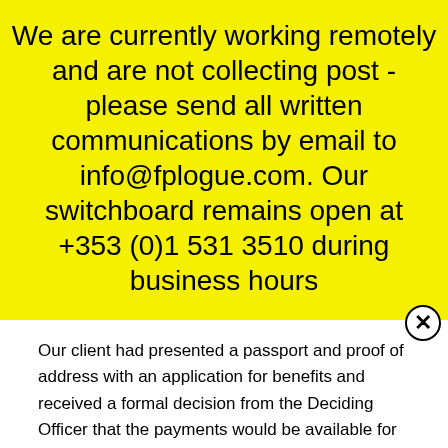We are currently working remotely and are not collecting post - please send all written communications by email to info@fplogue.com. Our switchboard remains open at +353 (0)1 531 3510 during business hours
Our client had presented a passport and proof of address with an application for benefits and received a formal decision from the Deciding Officer that the payments would be available for collection in the local post office in due course.
Some days later our client was informed by a member of staff that the approval had been a mistake and that the payments would be suspended until such time as an